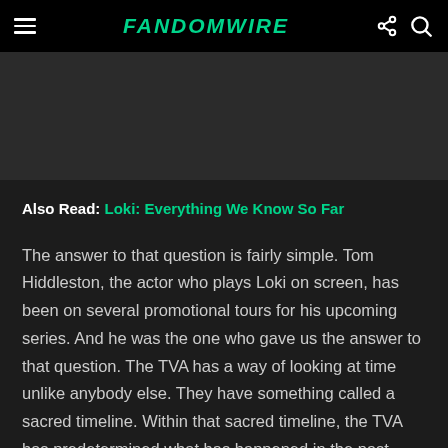FandomWire
Also Read: Loki: Everything We Know So Far
The answer to that question is fairly simple. Tom Hiddleston, the actor who plays Loki on screen, has been on several promotional tours for his upcoming series. And he was the one who gave us the answer to that question. The TVA has a way of looking at time unlike anybody else. They have something called a sacred timeline. Within that sacred timeline, the TVA has predetermined what has happened in the past, present, and future. And